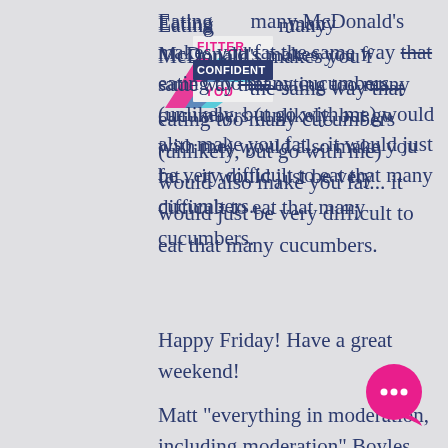[Figure (logo): Fitter Confident You logo with pink and dark blue text and a pink/teal arrow graphic]
Eating too many McDonald's makes you fat the same way that eating too many cucumbers (unlikely, but go with me) would also make you fat... it would just be very difficult to eat that many cucumbers.
Happy Friday! Have a great weekend!
Matt "everything in moderation, including moderation" Boyles
[Figure (infographic): Social sharing icons: Facebook (f), Twitter bird, LinkedIn (in)]
[Figure (other): Pink circular chat bubble button with three dots]